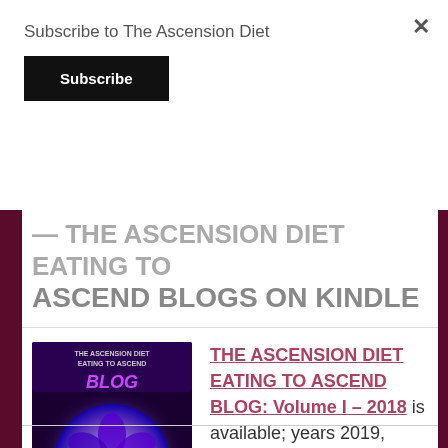Subscribe to The Ascension Diet
Subscribe
THE ASCENSION DIET EATING TO ASCEND BLOGS ON KINDLE
[Figure (illustration): Book cover for 'The Ascension Diet Eating to Ascend Blog Volume I - 2018' showing a glowing purple flower/cell on a blue circular background, authored by Laura Rohrer Little Brooks, Ps.]
THE ASCENSION DIET EATING TO ASCEND BLOG: Volume I – 2018 is available; years 2019, 2020, 2021 & 2022 soon. $19.99 on Amazon.com